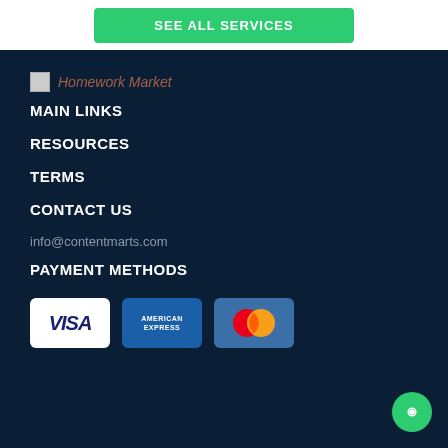[Figure (screenshot): Green 'SEE ALL SERVICES' button at top of page]
[Figure (logo): Homework Market logo with broken image icon and italic text]
MAIN LINKS
RESOURCES
TERMS
CONTACT US
info@contentmarts.com
PAYMENT METHODS
[Figure (illustration): Payment method icons: VISA, American Express, MasterCard]